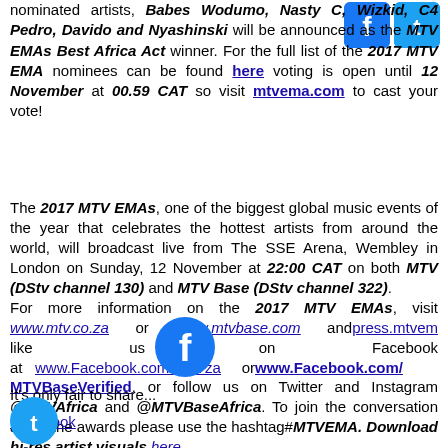nominated artists, Babes Wodumo, Nasty C, Wizkid, C4 Pedro, Davido and Nyashinski will be announced as the MTV EMAs Best Africa Act winner. For the full list of the 2017 MTV EMA nominees can be found here voting is open until 12 November at 00.59 CAT so visit mtvema.com to cast your vote!
The 2017 MTV EMAs, one of the biggest global music events of the year that celebrates the hottest artists from around the world, will broadcast live from The SSE Arena, Wembley in London on Sunday, 12 November at 22:00 CAT on both MTV (DStv channel 130) and MTV Base (DStv channel 322). For more information on the 2017 MTV EMAs, visit www.mtv.co.za or www.mtvbase.com and press.mtvema like us on Facebook at www.Facebook.com/MTVza or www.Facebook.com/MTVBaseVerified, or follow us on Twitter and Instagram @MTVAfrica and @MTVBaseAfrica. To join the conversation about the awards please use the hashtag#MTVEMA. Download hi-res artist visuals here.
It's only fair to share...
Facebook